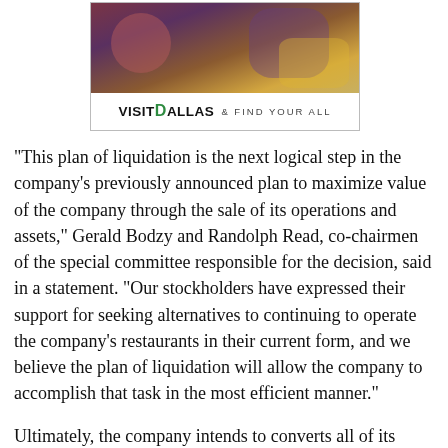[Figure (photo): Advertisement for Visit Dallas showing people dining at a restaurant table, with the Visit Dallas & Find Your All logo below the photo]
"This plan of liquidation is the next logical step in the company's previously announced plan to maximize value of the company through the sale of its operations and assets," Gerald Bodzy and Randolph Read, co-chairmen of the special committee responsible for the decision, said in a statement. "Our stockholders have expressed their support for seeking alternatives to continuing to operate the company's restaurants in their current form, and we believe the plan of liquidation will allow the company to accomplish that task in the most efficient manner."
Ultimately, the company intends to converts all of its assets